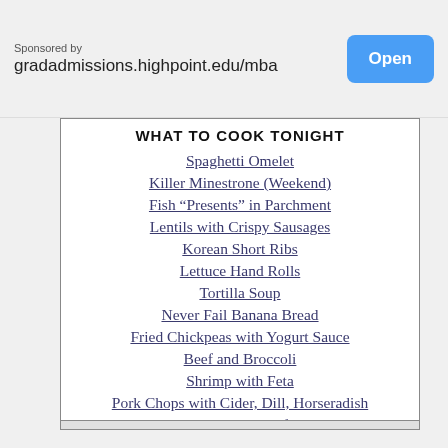Sponsored by gradadmissions.highpoint.edu/mba
WHAT TO COOK TONIGHT
Spaghetti Omelet
Killer Minestrone (Weekend)
Fish “Presents” in Parchment
Lentils with Crispy Sausages
Korean Short Ribs
Lettuce Hand Rolls
Tortilla Soup
Never Fail Banana Bread
Fried Chickpeas with Yogurt Sauce
Beef and Broccoli
Shrimp with Feta
Pork Chops with Cider, Dill, Horseradish
OR, Tell Me: What Kind of Night Is It?